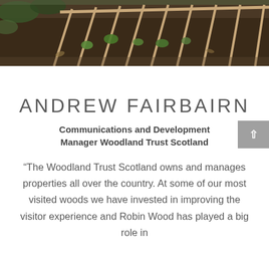[Figure (photo): Outdoor woodland scene showing soil beds with small seedling plants and wooden stakes or frames arranged in rows]
ANDREW FAIRBAIRN
Communications and Development Manager Woodland Trust Scotland
“The Woodland Trust Scotland owns and manages properties all over the country. At some of our most visited woods we have invested in improving the visitor experience and Robin Wood has played a big role in